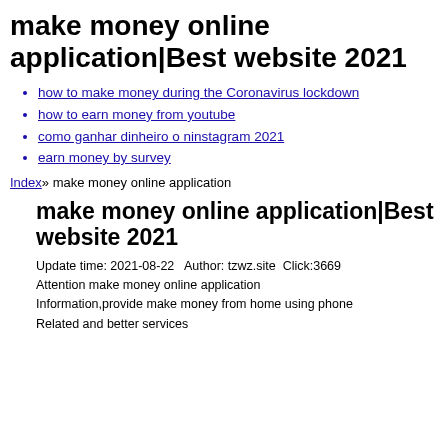make money online application|Best website 2021
how to make money during the Coronavirus lockdown
how to earn money from youtube
como ganhar dinheiro o ninstagram 2021
earn money by survey
Index» make money online application
make money online application|Best website 2021
Update time: 2021-08-22  Author: tzwz.site  Click:3669
Attention make money online application
Information,provide make money from home using phone
Related and better services